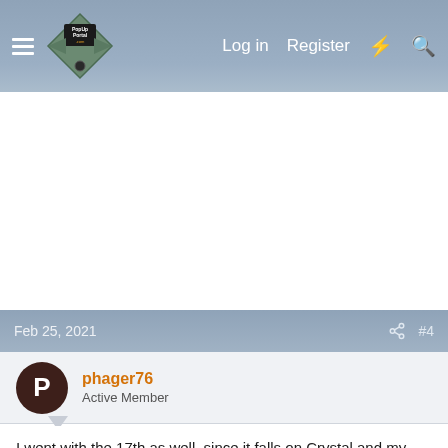PopUpPortal.com — Log in | Register
[Figure (screenshot): Advertisement / blank white area]
Feb 25, 2021   #4
phager76
Active Member
I went with the 17th as well, since it falls on Crystal and my anniversary, but I'm good with either date. I won't miss the dang window on this one like I did the summer rally! Oh, side note, We're going to try to go to the darkside this year, so we may